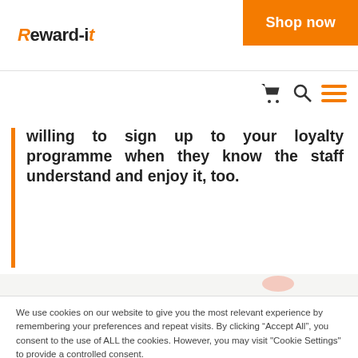Reward-it | Shop now
willing to sign up to your loyalty programme when they know the staff understand and enjoy it, too.
We use cookies on our website to give you the most relevant experience by remembering your preferences and repeat visits. By clicking “Accept All”, you consent to the use of ALL the cookies. However, you may visit "Cookie Settings" to provide a controlled consent.
Cookie Settings | Accept All